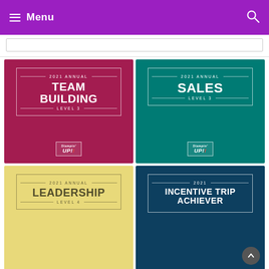Menu
[Figure (screenshot): Partially visible search bar]
[Figure (infographic): 2021 Annual Team Building Level 3 - crimson card with Stampin Up logo]
[Figure (infographic): 2021 Annual Sales Level 3 - teal card with Stampin Up logo]
[Figure (infographic): 2021 Annual Leadership Level 4 - yellow card with Stampin Up logo]
[Figure (infographic): 2021 Incentive Trip Achiever - navy card]